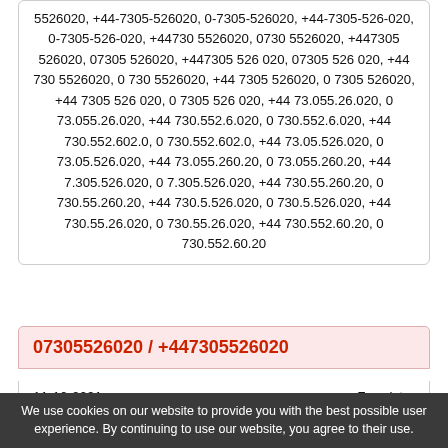5526020, +44-7305-526020, 0-7305-526020, +44-7305-526-020, 0-7305-526-020, +44730 5526020, 0730 5526020, +447305 526020, 07305 526020, +447305 526 020, 07305 526 020, +44 730 5526020, 0 730 5526020, +44 7305 526020, 0 7305 526020, +44 7305 526 020, 0 7305 526 020, +44 73.055.26.020, 0 73.055.26.020, +44 730.552.6.020, 0 730.552.6.020, +44 730.552.602.0, 0 730.552.602.0, +44 73.05.526.020, 0 73.05.526.020, +44 73.055.260.20, 0 73.055.260.20, +44 7.305.526.020, 0 7.305.526.020, +44 730.55.260.20, 0 730.55.260.20, +44 730.5.526.020, 0 730.5.526.020, +44 730.55.26.020, 0 730.55.26.020, +44 730.552.60.20, 0 730.552.60.20
07305526020 / +447305526020
| 11-10-2021 | Fraudster |
| Rating: | -5 |
| Name: | Deborah |
We use cookies on our website to provide you with the best possible user experience. By continuing to use our website, you agree to their use.